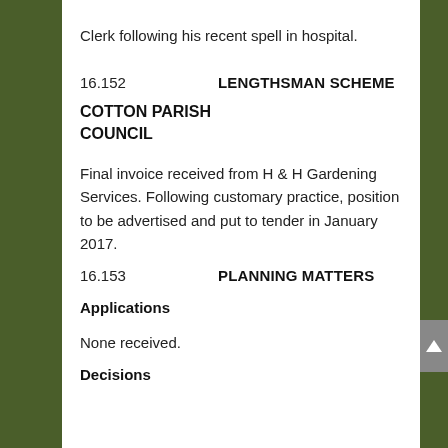Clerk following his recent spell in hospital.
16.152   LENGTHSMAN SCHEME
COTTON PARISH COUNCIL
Final invoice received from H & H Gardening Services.  Following customary practice, position to be advertised and put to tender in January 2017.
16.153   PLANNING MATTERS
Applications
None received.
Decisions